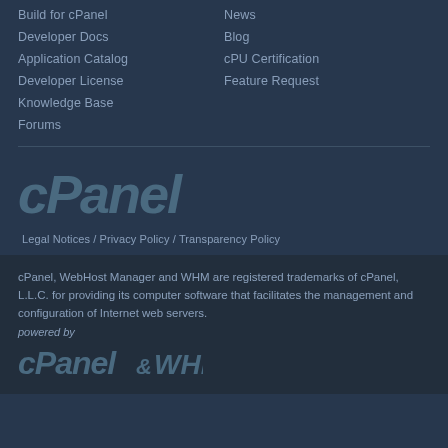Build for cPanel
Developer Docs
Application Catalog
Developer License
Knowledge Base
Forums
News
Blog
cPU Certification
Feature Request
[Figure (logo): cPanel logo in muted blue-grey italic bold text]
Legal Notices / Privacy Policy / Transparency Policy
cPanel, WebHost Manager and WHM are registered trademarks of cPanel, L.L.C. for providing its computer software that facilitates the management and configuration of Internet web servers.
powered by
[Figure (logo): cPanel & WHM logo in muted teal italic bold text]